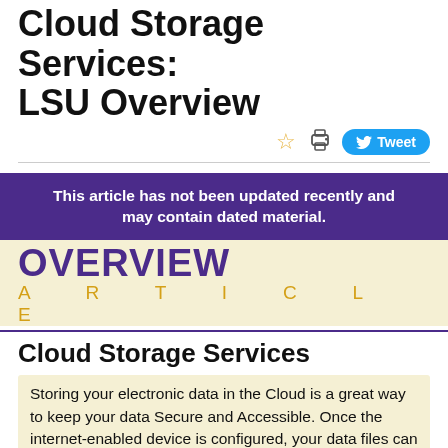Cloud Storage Services: LSU Overview
[Figure (other): Toolbar icons: star, printer, and Tweet button]
[Figure (infographic): Warning banner: This article has not been updated recently and may contain dated material.]
OVERVIEW ARTICLE
Cloud Storage Services
Storing your electronic data in the Cloud is a great way to keep your data Secure and Accessible. Once the internet-enabled device is configured, your data files can then be accessed, managed, and shared.
This website uses cookies to ensure site visitors get the best experience on our website. By continuing to use this site, you accept our use of cookies and Privacy Statement. To learn more, please visit LSU Privacy Statement.
Box - A cloud storage tool that allows you to store all of your data files in a secure off-